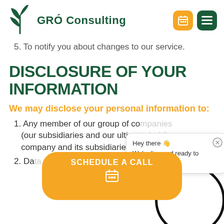[Figure (logo): GRÓ Consulting logo with green plant/leaf icon and text, plus orange calendar icon button and dark green menu icon button in header]
5. To notify you about changes to our service.
DISCLOSURE OF YOUR INFORMATION
We may disclose your personal information to:
1. Any member of our group of companies (our subsidiaries and our ultimate holding company and its subsidiaries);
2. Da... ing
[Figure (screenshot): Chat popup overlay: 'Hey there 👋 We're live and ready to help you' with close button, and large circular chat avatar, and orange 'SCHEDULE A CALL' button at bottom]